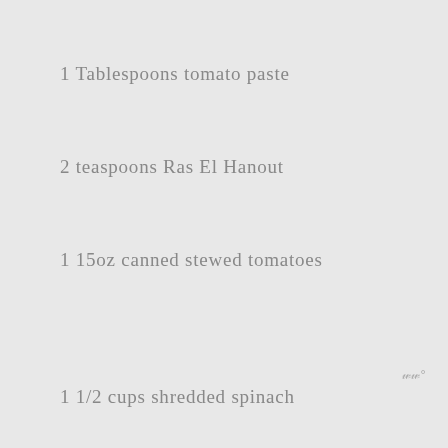1 Tablespoons tomato paste
2 teaspoons Ras El Hanout
1 15oz canned stewed tomatoes
1 1/2 cups shredded spinach